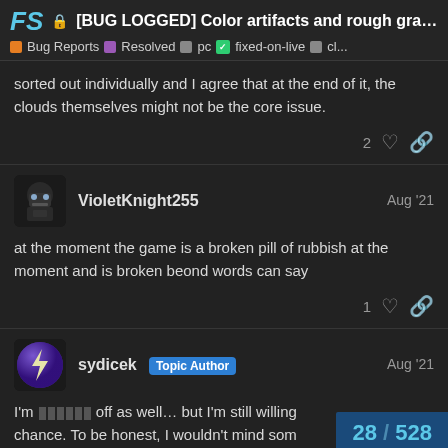[BUG LOGGED] Color artifacts and rough grad... | Bug Reports | Resolved | pc | fixed-on-live | cl...
sorted out individually and I agree that at the end of it, the clouds themselves might not be the core issue.
VioletKnight255 Aug '21 — at the moment the game is a broken pill of rubbish at the moment and is broken beond words can say
sydicek Topic Author Aug '21 — I'm ██████ off as well… but I'm still willing chance. To be honest, I wouldn't mind som
28 / 528